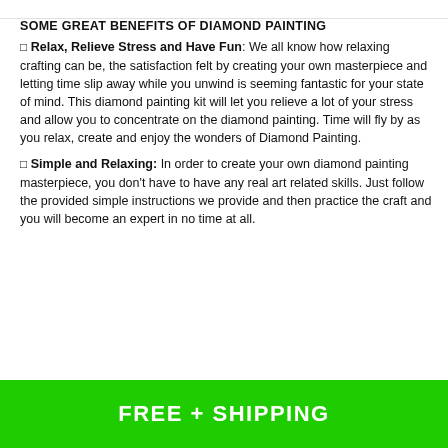SOME GREAT BENEFITS OF DIAMOND PAINTING
🔷 Relax, Relieve Stress and Have Fun: We all know how relaxing crafting can be, the satisfaction felt by creating your own masterpiece and letting time slip away while you unwind is seeming fantastic for your state of mind. This diamond painting kit will let you relieve a lot of your stress and allow you to concentrate on the diamond painting. Time will fly by as you relax, create and enjoy the wonders of Diamond Painting.
🔷 Simple and Relaxing: In order to create your own diamond painting masterpiece, you don't have to have any real art related skills. Just follow the provided simple instructions we provide and then practice the craft and you will become an expert in no time at all.
FREE + SHIPPING